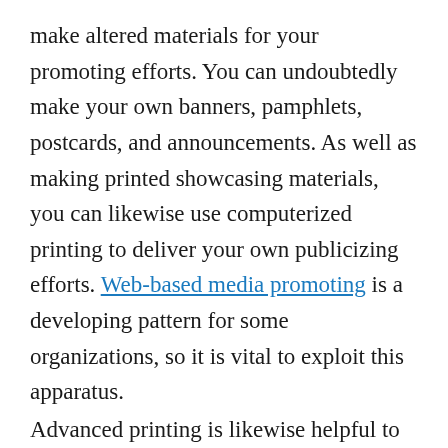make altered materials for your promoting efforts. You can undoubtedly make your own banners, pamphlets, postcards, and announcements. As well as making printed showcasing materials, you can likewise use computerized printing to deliver your own publicizing efforts. Web-based media promoting is a developing pattern for some organizations, so it is vital to exploit this apparatus.
Advanced printing is likewise helpful to